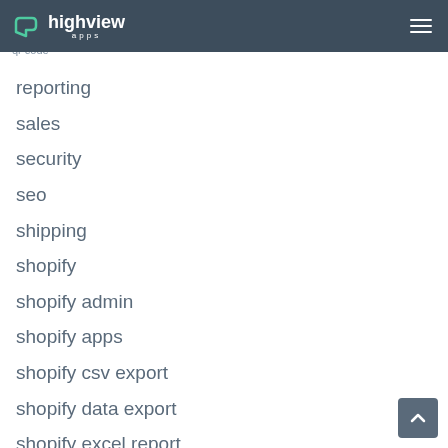highview apps
products
qr code
reporting
sales
security
seo
shipping
shopify
shopify admin
shopify apps
shopify csv export
shopify data export
shopify excel report
shopify exports
shopify fulfillment orders